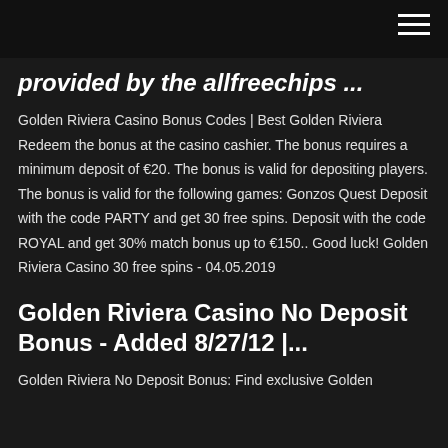≡
provided by the allfreechips ...
Golden Riviera Casino Bonus Codes | Best Golden Riviera Redeem the bonus at the casino cashier. The bonus requires a minimum deposit of €20. The bonus is valid for depositing players. The bonus is valid for the following games: Gonzos Quest Deposit with the code PARTY and get 30 free spins. Deposit with the code ROYAL and get 30% match bonus up to €150.. Good luck! Golden Riviera Casino 30 free spins - 04.05.2019
Golden Riviera Casino No Deposit Bonus - Added 8/27/12 |...
Golden Riviera No Deposit Bonus: Find exclusive Golden